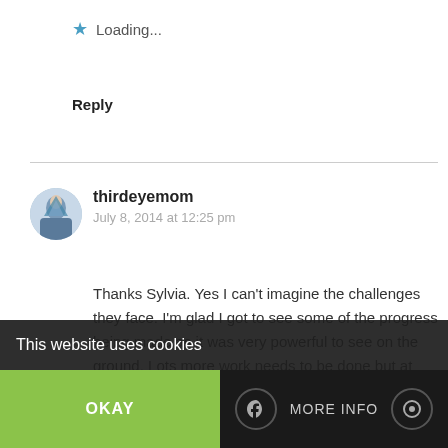Loading...
Reply
thirdeyemom
July 8, 2014 at 12:25 pm
Thanks Sylvia. Yes I can't imagine the challenges they face. I'm glad I got to see some of the progress being made as it was very powerful to see on the ground. Lots more work needs to be done but at least the country is heading in the right direction.
This website uses cookies
OKAY
MORE INFO